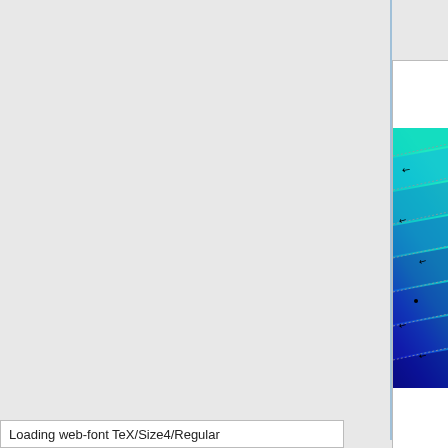[Figure (continuous-plot): Scientific visualization showing diagonal banded color gradient (blue to cyan/teal) with overlaid gray dotted contour lines and black arrow markers indicating flow or field directions. The color scale ranges from deep blue (bottom) through mid blue, cyan, to teal/green (top). Multiple diagonal parallel bands are visible with scattered gray dot patterns along band edges and black arrows pointing toward lower-left.]
u=(0,0) [10' x 10']
Loading web-font TeX/Size4/Regular